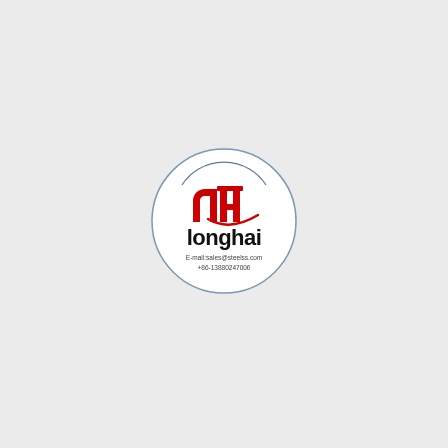[Figure (logo): Longhai company circular logo with red stylized 'lh' monogram icon, bold black 'longhai' wordmark, email 'sales@steelss.com' and phone '+86-13880247006' text below]